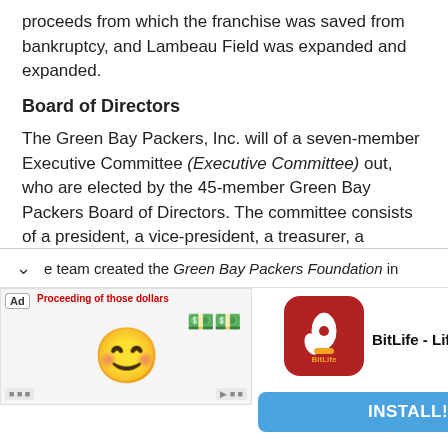proceeds from which the franchise was saved from bankruptcy, and Lambeau Field was expanded and expanded.
Board of Directors
The Green Bay Packers, Inc. will of a seven-member Executive Committee (Executive Committee) out, who are elected by the 45-member Green Bay Packers Board of Directors. The committee consists of a president, a vice-president, a treasurer, a manager and three other members. The current position of President, currently held by Mark H. Murphy , is the only paid employee and usually represents the Packers at owners' meetings.
Green Bay Packers Foundation
e team created the Green Bay Packers Foundation in
[Figure (screenshot): Advertisement banner for BitLife - Life Simulator app with install button]